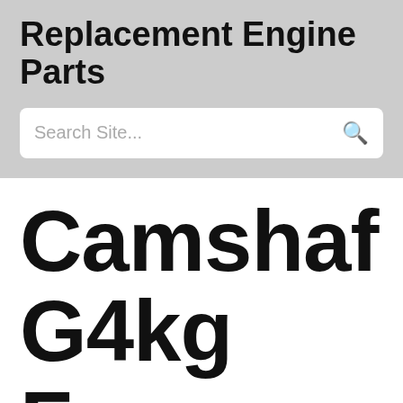Replacement Engine Parts
Search Site...
Camshaf G4kg For